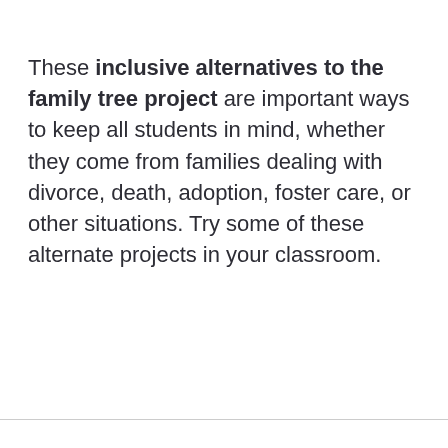These inclusive alternatives to the family tree project are important ways to keep all students in mind, whether they come from families dealing with divorce, death, adoption, foster care, or other situations. Try some of these alternate projects in your classroom.